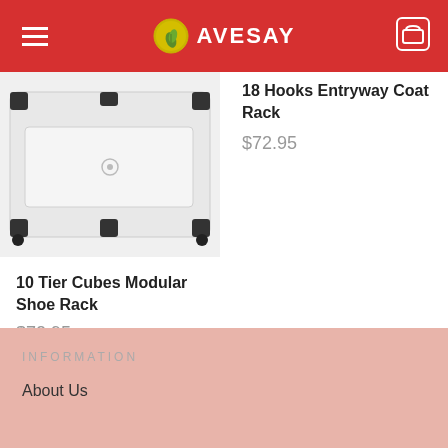AVESAY
[Figure (photo): Modular shoe rack storage cube with black corner connectors and white panels, on white background]
18 Hooks Entryway Coat Rack
$72.95
10 Tier Cubes Modular Shoe Rack
$72.95
INFORMATION
About Us